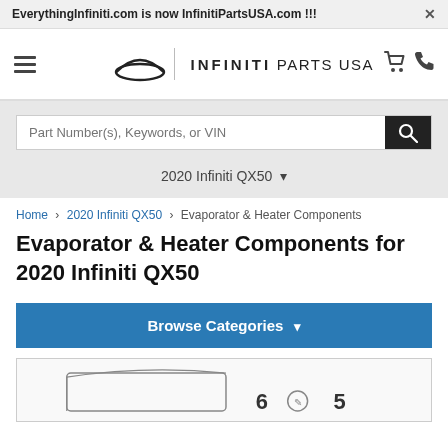EverythingInfiniti.com is now InfinitiPartsUSA.com !!!
[Figure (logo): Infiniti Parts USA logo with Infiniti symbol, divider, INFINITI PARTS USA text, cart icon, and phone icon]
Part Number(s), Keywords, or VIN
2020 Infiniti QX50 ▾
Home › 2020 Infiniti QX50 › Evaporator & Heater Components
Evaporator & Heater Components for 2020 Infiniti QX50
Browse Categories ▾
[Figure (illustration): Partial view of an Infiniti parts diagram for Evaporator & Heater Components showing a schematic illustration with numbered parts, partially cut off at the bottom of the page]